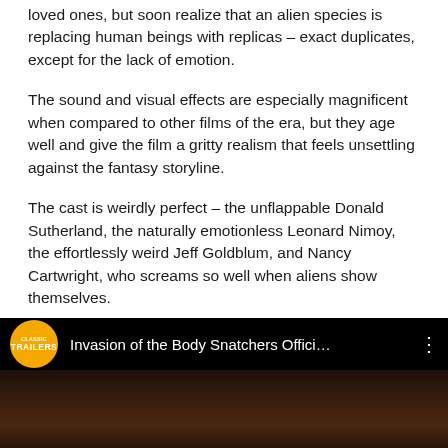loved ones, but soon realize that an alien species is replacing human beings with replicas – exact duplicates, except for the lack of emotion.
The sound and visual effects are especially magnificent when compared to other films of the era, but they age well and give the film a gritty realism that feels unsettling against the fantasy storyline.
The cast is weirdly perfect – the unflappable Donald Sutherland, the naturally emotionless Leonard Nimoy, the effortlessly weird Jeff Goldblum, and Nancy Cartwright, who screams so well when aliens show themselves.
[Figure (screenshot): YouTube video thumbnail for 'Invasion of the Body Snatchers Offici...' with a Classic Trailers badge (yellow circle) and a dark film still below showing a person's face]